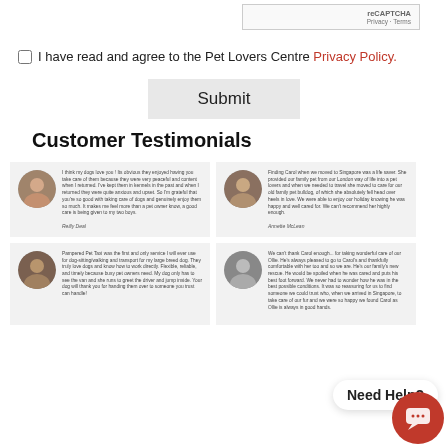[Figure (screenshot): reCAPTCHA widget showing 'reCAPTCHA' title and 'Privacy · Terms' links]
I have read and agree to the Pet Lovers Centre Privacy Policy.
Submit
Customer Testimonials
I think my dogs love you !  Its obvious they enjoyed having you take care of them because they were very peaceful and content when I returned. I've kept them in kennels in the past and when I returned they were quite anxious and upset. So I'm grateful that you're so good with taking care of dogs and genuinely enjoy them so much. It makes me feel more than a pet owner know, a good care is being given to my two boys. — Reilly Deal
Finding Carol when we moved to Singapore was a life saver. She provided our family pet from our London way of life into a pet lovers and when we needed to travel she moved to care for our old family pet bulldog, of which she absolutely fell head over heels in love. We were able to enjoy our holiday knowing he was happy and well cared for. We can't recommend her highly enough. — Annette McLean
Pampered Pet Taxi was the first and only service I will ever use for dog-sitting/walking and transport for my large breed dog. They truly love dogs and know how to work directly. Flexible, reliable, and timely because busy pet owners need. My dog only has to see the van and she runs to greet the driver and jump inside. Your dog will thank you for handing them over to someone you trust can handle! — Author
We can't thank Carol enough... for taking wonderful care of our Ollie. He's always pleased to go to Carol's and thankfully comfortable with her too and so we are. He's our family's new rescue. He would be spoiled when he was cared and puts his best foot forward. We never had to wonder how he was in the best possible conditions. It was so reassuring for us to find someone we could trust who, when we arrived in Singapore, to take care of our fur and we were so happy we found Carol as Ollie is always in good hands.